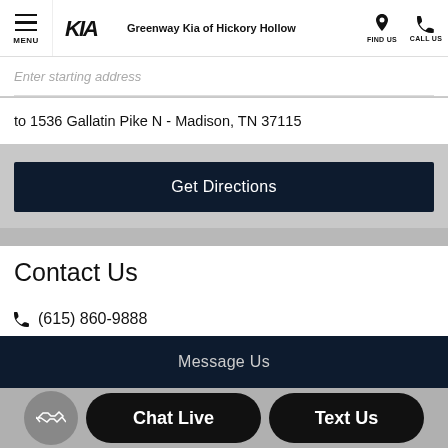Greenway Kia of Hickory Hollow
Enter starting address
to 1536 Gallatin Pike N - Madison, TN 37115
Get Directions
Contact Us
(615) 860-9888
jamesgaluszka@universalkiarivergate.com
Message Us
Chat Live
Text Us